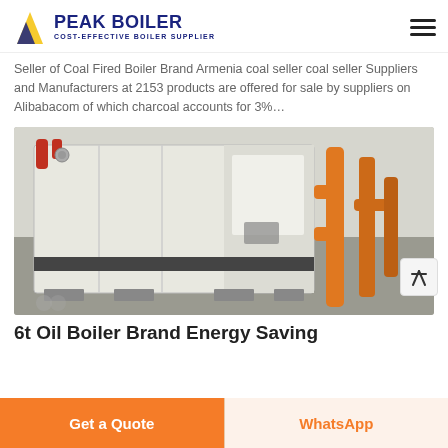PEAK BOILER - COST-EFFECTIVE BOILER SUPPLIER
Seller of Coal Fired Boiler Brand Armenia coal seller coal seller Suppliers and Manufacturers at 2153 products are offered for sale by suppliers on Alibabacom of which charcoal accounts for 3%…
[Figure (photo): Industrial boiler unit - a large white rectangular boiler machine with control panel, situated in an industrial room with orange/yellow pipework visible on the right side.]
6t Oil Boiler Brand Energy Saving
Get a Quote
WhatsApp